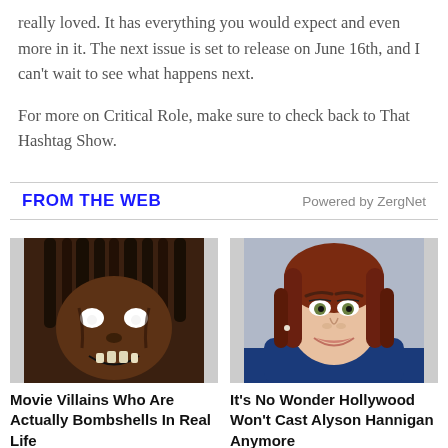really loved. It has everything you would expect and even more in it. The next issue is set to release on June 16th, and I can't wait to see what happens next.
For more on Critical Role, make sure to check back to That Hashtag Show.
FROM THE WEB
Powered by ZergNet
[Figure (photo): Photo of a movie villain with dreadlocks and zombie-like makeup with white eyes and dark grin]
Movie Villains Who Are Actually Bombshells In Real Life
[Figure (photo): Photo of Alyson Hannigan smiling at a red carpet event, with red-auburn hair]
It's No Wonder Hollywood Won't Cast Alyson Hannigan Anymore